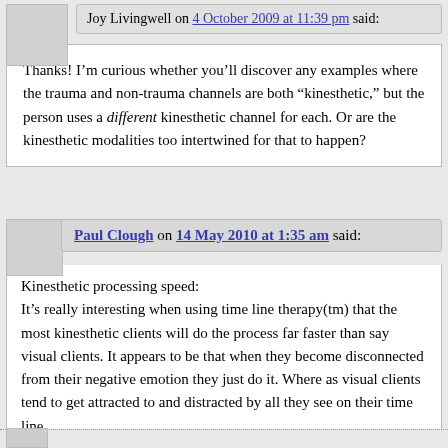Joy Livingwell on 4 October 2009 at 11:39 pm said:
Thanks! I’m curious whether you’ll discover any examples where the trauma and non-trauma channels are both “kinesthetic,” but the person uses a different kinesthetic channel for each. Or are the kinesthetic modalities too intertwined for that to happen?
Paul Clough on 14 May 2010 at 1:35 am said:
Kinesthetic processing speed:
It’s really interesting when using time line therapy(tm) that the most kinesthetic clients will do the process far faster than say visual clients. It appears to be that when they become disconnected from their negative emotion they just do it. Where as visual clients tend to get attracted to and distracted by all they see on their time line.
Paul
Reply ↓